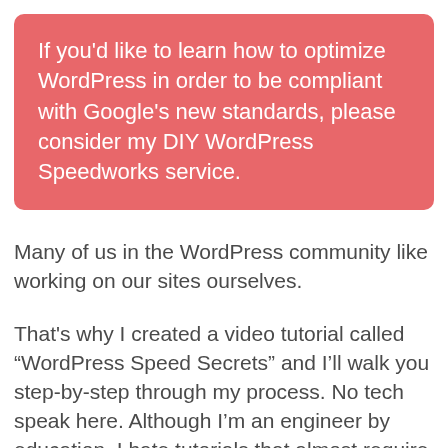If you'd like to learn how to optimize WordPress in order to be compliant with Google's new standards, please consider my DIY WordPress Speedworks service.
Many of us in the WordPress community like working on our sites ourselves.
That's why I created a video tutorial called “WordPress Speed Secrets” and I’ll walk you step-by-step through my process. No tech speak here. Although I’m an engineer by education, I hate tutorials that almost require another degree to understand. So I use everyday language instead.